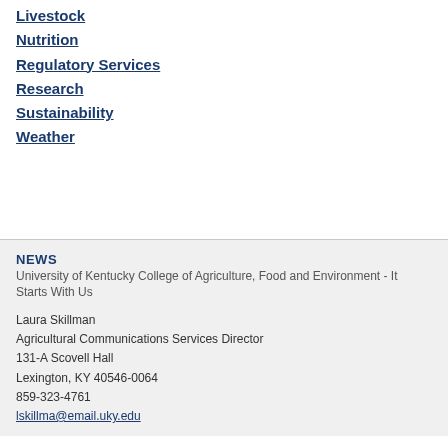Livestock
Nutrition
Regulatory Services
Research
Sustainability
Weather
NEWS
University of Kentucky College of Agriculture, Food and Environment - It Starts With Us
Laura Skillman
Agricultural Communications Services Director
131-A Scovell Hall
Lexington, KY 40546-0064
859-323-4761
lskillma@email.uky.edu